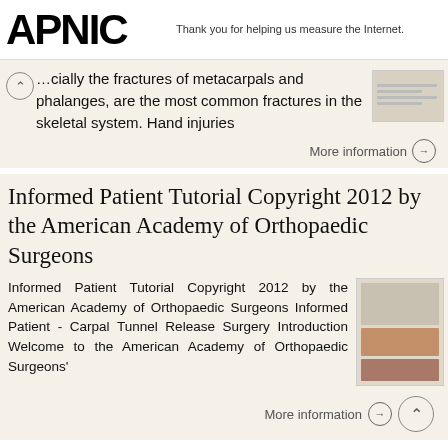APNIC — Thank you for helping us measure the Internet.
…cially the fractures of metacarpals and phalanges, are the most common fractures in the skeletal system. Hand injuries
More information →
Informed Patient Tutorial Copyright 2012 by the American Academy of Orthopaedic Surgeons
Informed Patient Tutorial Copyright 2012 by the American Academy of Orthopaedic Surgeons Informed Patient - Carpal Tunnel Release Surgery Introduction Welcome to the American Academy of Orthopaedic Surgeons'
More information →